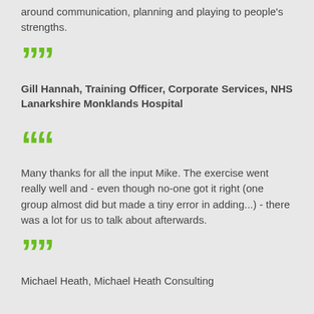around communication, planning and playing to people's strengths.
""
Gill Hannah, Training Officer, Corporate Services, NHS Lanarkshire Monklands Hospital
""
Many thanks for all the input Mike. The exercise went really well and - even though no-one got it right (one group almost did but made a tiny error in adding...) - there was a lot for us to talk about afterwards.
""
Michael Heath, Michael Heath Consulting